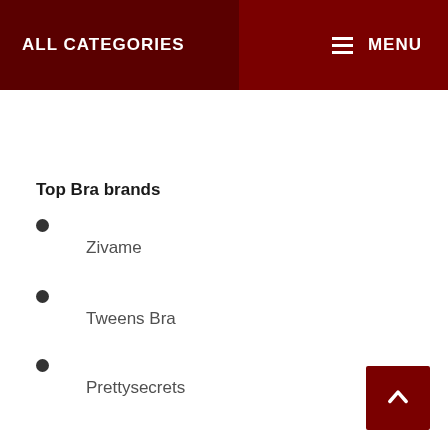ALL CATEGORIES   MENU
Top Bra brands
Zivame
Tweens Bra
Prettysecrets
Amante